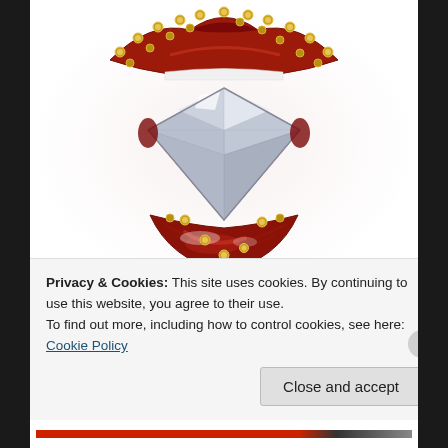[Figure (illustration): Close-up artistic illustration of red lips adorned with rhinestones/crystals along the top lip edge, with a large clear diamond/crystal gem held between the lips against a white background.]
Trust No One.
Privacy & Cookies: This site uses cookies. By continuing to use this website, you agree to their use.
To find out more, including how to control cookies, see here: Cookie Policy